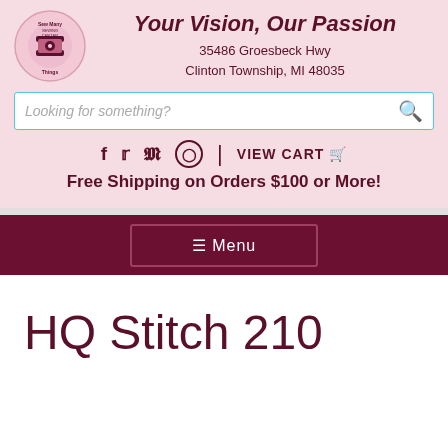[Figure (logo): Sew Many Things Sewing Center circular logo with spool of thread]
Your Vision, Our Passion
35486 Groesbeck Hwy
Clinton Township, MI 48035
Looking for something?
f  ⓣ  𝘱  ⓘ  |  VIEW CART 🛒
Free Shipping on Orders $100 or More!
☰ Menu
HQ Stitch 210